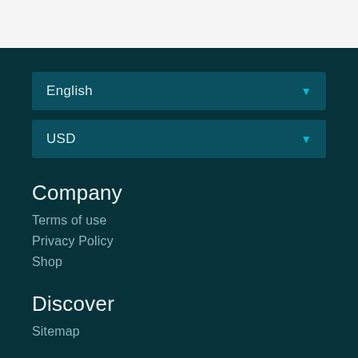[Figure (screenshot): Top light gray bar area - header region of website]
English
USD
Company
Terms of use
Privacy Policy
Shop
Discover
Sitemap